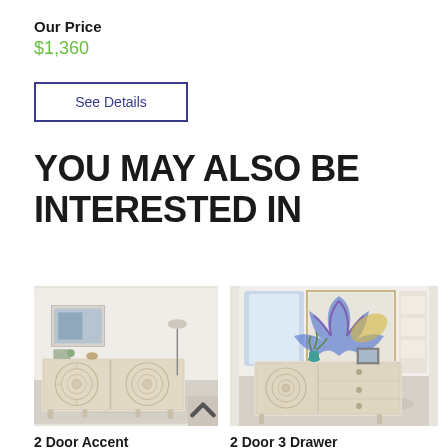Our Price
$1,360
See Details
YOU MAY ALSO BE INTERESTED IN
[Figure (photo): 2 Door Accent cabinet in cream/beige with ornate carved circular door panels, shown in a living room setting with artwork and lamp]
2 Door Accent
[Figure (photo): 2 Door 3 Drawer cabinet in cream/beige with ornate carved circular door panel and 3 drawers, shown in a living room setting with blue abstract artwork and teal vase]
2 Door 3 Drawer